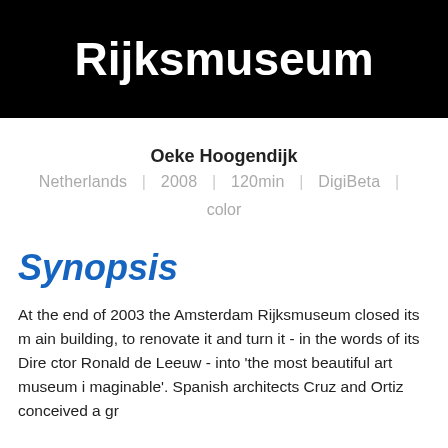[Figure (other): Black banner with white bold text reading 'Rijksmuseum']
Oeke Hoogendijk
Netherlands | 2008 | 120min | DigiBeta | color
Synopsis
At the end of 2003 the Amsterdam Rijksmuseum closed its main building, to renovate it and turn it - in the words of its Director Ronald de Leeuw - into 'the most beautiful art museum imaginable'. Spanish architects Cruz and Ortiz conceived a gr